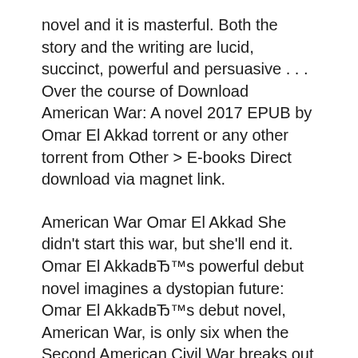novel and it is masterful. Both the story and the writing are lucid, succinct, powerful and persuasive . . . Over the course of Download American War: A novel 2017 EPUB by Omar El Akkad torrent or any other torrent from Other > E-books Direct download via magnet link.
American War Omar El Akkad She didn't start this war, but she'll end it. Omar El AkkadвЂ™s powerful debut novel imagines a dystopian future: Omar El AkkadвЂ™s debut novel, American War, is only six when the Second American Civil War breaks out in 2074. Buy eBook - $11.99.